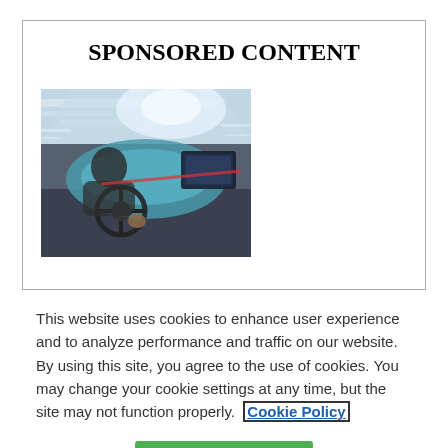SPONSORED CONTENT
[Figure (photo): Person driving a car, viewed from inside the vehicle, with motion-blurred background suggesting high speed. The driver is gripping the steering wheel.]
This website uses cookies to enhance user experience and to analyze performance and traffic on our website. By using this site, you agree to the use of cookies. You may change your cookie settings at any time, but the site may not function properly. Cookie Policy
Close